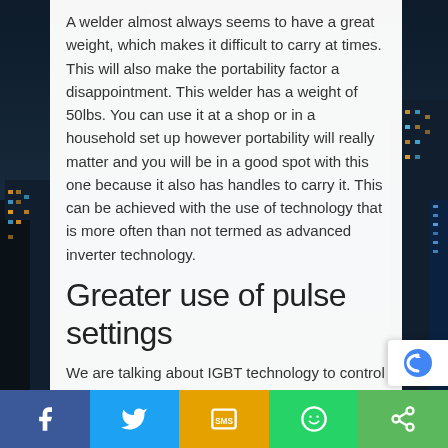A welder almost always seems to have a great weight, which makes it difficult to carry at times. This will also make the portability factor a disappointment. This welder has a weight of 50lbs. You can use it at a shop or in a household set up however portability will really matter and you will be in a good spot with this one because it also has handles to carry it. This can be achieved with the use of technology that is more often than not termed as advanced inverter technology.
Greater use of pulse settings
We are talking about IGBT technology to control power consumption and Pulse Width Modulation.
[Figure (other): Social media sharing bar at bottom with Facebook, Twitter, SMS, WhatsApp, and share buttons]